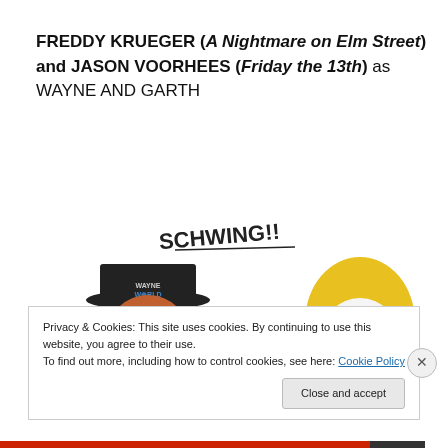FREDDY KRUEGER (A Nightmare on Elm Street) and JASON VOORHEES (Friday the 13th) as WAYNE AND GARTH
[Figure (illustration): Hand-drawn illustration showing two horror characters dressed as Wayne and Garth from Wayne's World. Left figure wears a 'Wayne's World' cap and has Freddy Krueger's scarred face. Right figure has blonde hair, sunglasses, and skeletal face paint like Jason Voorhees. The word 'SCHWING!!' is written above them in stylized text.]
Privacy & Cookies: This site uses cookies. By continuing to use this website, you agree to their use.
To find out more, including how to control cookies, see here: Cookie Policy